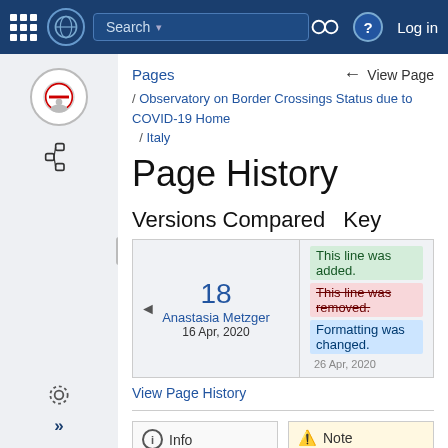Search | Log in
Pages  ← View Page
/ Observatory on Border Crossings Status due to COVID-19 Home / Italy
Page History
Versions Compared   Key
18
Anastasia Metzger
16 Apr, 2020
This line was added.
This line was removed.
Formatting was changed.
26 Apr, 2020
View Page History
ⓘ Info

Border restrictions ar (11.03.2020)
⚠ Note

icon false
title Remarks from the Road Transport H...